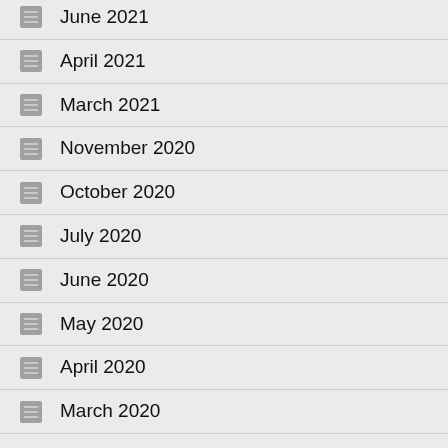June 2021
April 2021
March 2021
November 2020
October 2020
July 2020
June 2020
May 2020
April 2020
March 2020